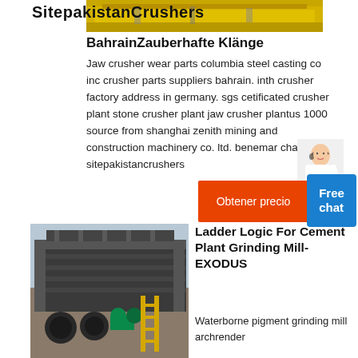[Figure (photo): Yellow industrial crusher/screening machine at the top of the page, partially cropped. Title text 'SitepakistanCrushers' overlaid.]
BahrainZauberhafte Klänge
Jaw crusher wear parts columbia steel casting co inc crusher parts suppliers bahrain. inth crusher factory address in germany. sgs cetificated crusher plant stone crusher plant jaw crusher plantus 1000 source from shanghai zenith mining and construction machinery co. ltd. benemar chartering sitepakistancrushers
[Figure (other): Orange button with text 'Obtener precio' and blue 'Free chat' button overlay. Customer service person illustration to the right.]
[Figure (photo): Industrial crushing/screening machine equipment photographed outdoors. The machine is large, dark grey/black with a yellow ladder, conveyor belts and rollers visible.]
Ladder Logic For Cement Plant Grinding Mill-EXODUS
Waterborne pigment grinding mill archrender
benemar chartering sitepakistancrushers plc ladder programming for m code of grinding machine coal washing machine about us this group of companies brings highlevel customers from the world to the local production strategy of local accuracy and global science design with asia